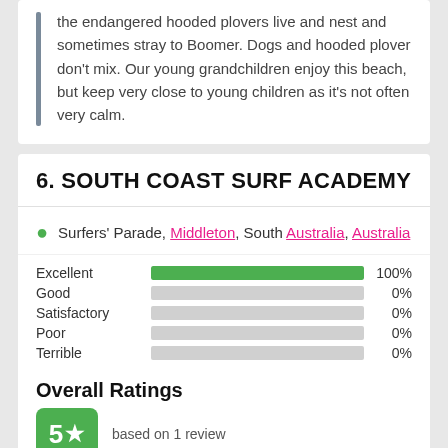the endangered hooded plovers live and nest and sometimes stray to Boomer. Dogs and hooded plover don't mix. Our young grandchildren enjoy this beach, but keep very close to young children as it's not often very calm.
6. SOUTH COAST SURF ACADEMY
Surfers' Parade, Middleton, South Australia, Australia
[Figure (bar-chart): Ratings breakdown]
Overall Ratings